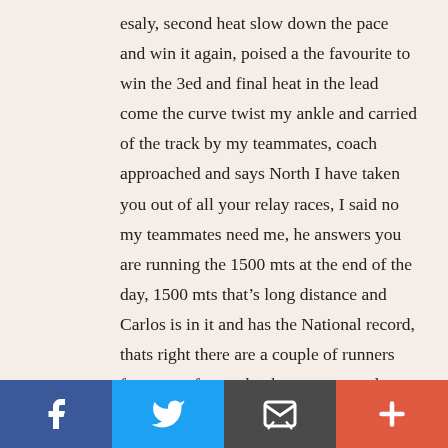esaly, second heat slow down the pace and win it again, poised a the favourite to win the 3ed and final heat in the lead come the curve twist my ankle and carried of the track by my teammates, coach approached and says North I have taken you out of all your relay races, I said no my teammates need me, he answers you are running the 1500 mts at the end of the day, 1500 mts that's long distance and Carlos is in it and has the National record, thats right there are a couple of runners from out of state that have very good times and I want you to go out and pace it so Carlos can win without any surprises. Was I pissed but above I was a team player, for the team! In the looker room the tigers, lions and